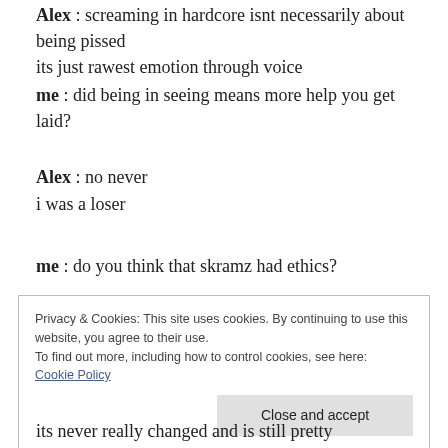Alex : screaming in hardcore isnt necessarily about being pissed
its just rawest emotion through voice
me : did being in seeing means more help you get laid?
Alex : no never
i was a loser
me : do you think that skramz had ethics?
Privacy & Cookies: This site uses cookies. By continuing to use this website, you agree to their use.
To find out more, including how to control cookies, see here:
Cookie Policy
its never really changed and is still pretty